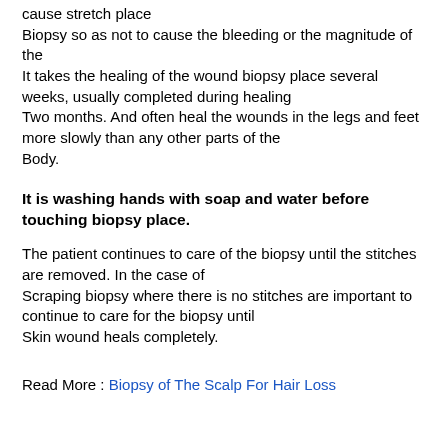cause stretch place
Biopsy so as not to cause the bleeding or the magnitude of the
It takes the healing of the wound biopsy place several weeks, usually completed during healing
Two months. And often heal the wounds in the legs and feet more slowly than any other parts of the
Body.
It is washing hands with soap and water before touching biopsy place.
The patient continues to care of the biopsy until the stitches are removed. In the case of
Scraping biopsy where there is no stitches are important to continue to care for the biopsy until
Skin wound heals completely.
Read More : Biopsy of The Scalp For Hair Loss